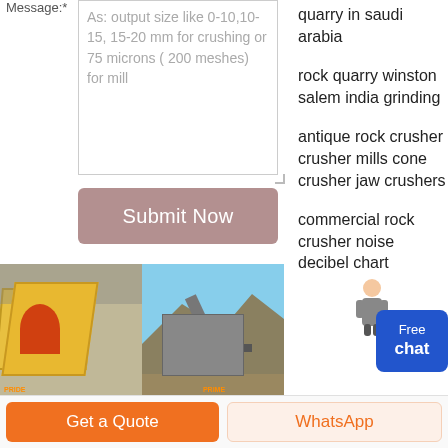Message:*
As: output size like 0-10,10-15, 15-20 mm for crushing or 75 microns ( 200 meshes) for mill
Submit Now
[Figure (photo): Two photos side by side: left shows yellow industrial vibrating screen equipment; right shows a rock crusher/quarry conveyor system outdoors]
Rock Crusher Equipment, Repairs, Parts, Systems ...
quarry in saudi arabia
rock quarry winston salem india grinding
antique rock crusher crusher mills cone crusher jaw crushers
commercial rock crusher noise decibel chart
Free chat
Get a Quote
WhatsApp